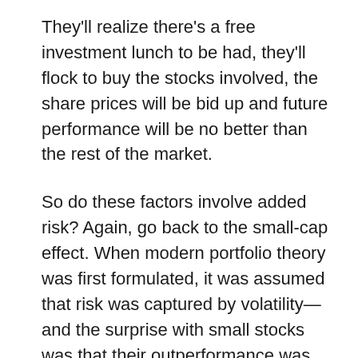They'll realize there's a free investment lunch to be had, they'll flock to buy the stocks involved, the share prices will be bid up and future performance will be no better than the rest of the market.
So do these factors involve added risk? Again, go back to the small-cap effect. When modern portfolio theory was first formulated, it was assumed that risk was captured by volatility—and the surprise with small stocks was that their outperformance was larger than could be explained by volatility alone. The assumption: Something else must be going on, but nobody was quite sure what it was.